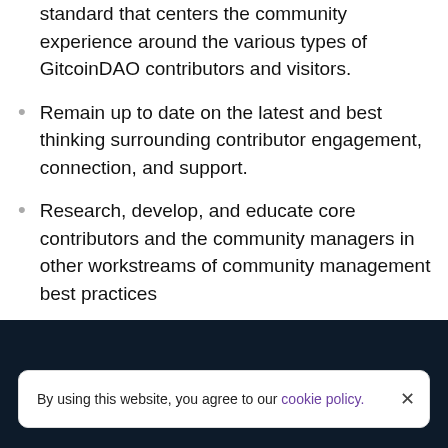standard that centers the community experience around the various types of GitcoinDAO contributors and visitors.
Remain up to date on the latest and best thinking surrounding contributor engagement, connection, and support.
Research, develop, and educate core contributors and the community managers in other workstreams of community management best practices
Use all moderation and interactions as input for
By using this website, you agree to our cookie policy.